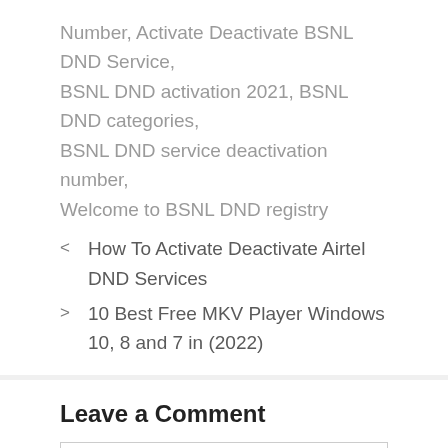Number, Activate Deactivate BSNL DND Service, BSNL DND activation 2021, BSNL DND categories, BSNL DND service deactivation number, Welcome to BSNL DND registry
< How To Activate Deactivate Airtel DND Services
> 10 Best Free MKV Player Windows 10, 8 and 7 in (2022)
Leave a Comment